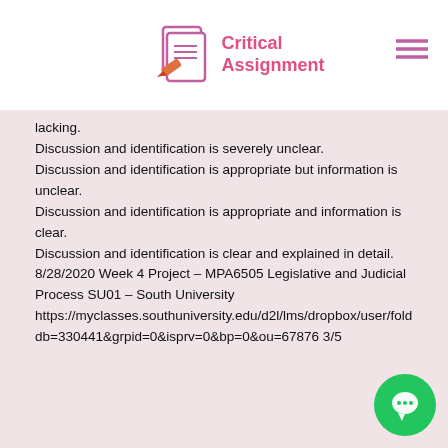Critical Assignment
lacking. Discussion and identification is severely unclear. Discussion and identification is appropriate but information is unclear. Discussion and identification is appropriate and information is clear. Discussion and identification is clear and explained in detail. 8/28/2020 Week 4 Project – MPA6505 Legislative and Judicial Process SU01 – South University https://myclasses.southuniversity.edu/d2l/lms/dropbox/user/fold db=330441&grpid=0&isprv=0&bp=0&ou=67876 3/5